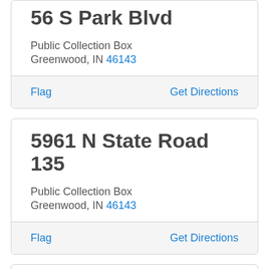56 S Park Blvd
Public Collection Box
Greenwood, IN 46143
Flag    Get Directions
5961 N State Road 135
Public Collection Box
Greenwood, IN 46143
Flag    Get Directions
600 Yalobusha St